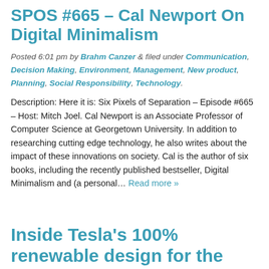SPOS #665 – Cal Newport On Digital Minimalism
Posted 6:01 pm by Brahm Canzer & filed under Communication, Decision Making, Environment, Management, New product, Planning, Social Responsibility, Technology.
Description: Here it is: Six Pixels of Separation – Episode #665 – Host: Mitch Joel. Cal Newport is an Associate Professor of Computer Science at Georgetown University. In addition to researching cutting edge technology, he also writes about the impact of these innovations on society. Cal is the author of six books, including the recently published bestseller, Digital Minimalism and (a personal... Read more »
Inside Tesla's 100% renewable design for the Gigafactory